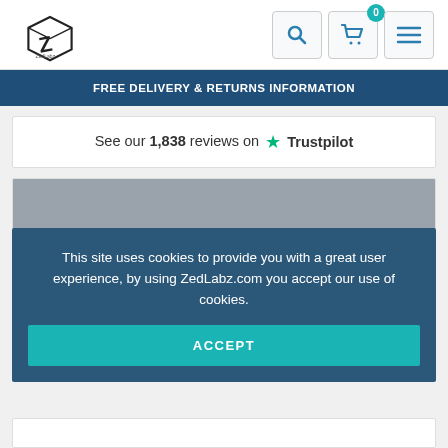[Figure (logo): ZedLabz logo — stylized Z with a box, black and white illustration]
[Figure (infographic): Navigation icons: search (magnifying glass), cart with badge showing 0, hamburger menu]
FREE DELIVERY & RETURNS INFORMATION
See our 1,838 reviews on ★ Trustpilot
[Figure (screenshot): Partially visible product listing area, darkened by cookie overlay]
This site uses cookies to provide you with a great user experience, by using ZedLabz.com you accept our use of cookies.
ACCEPT